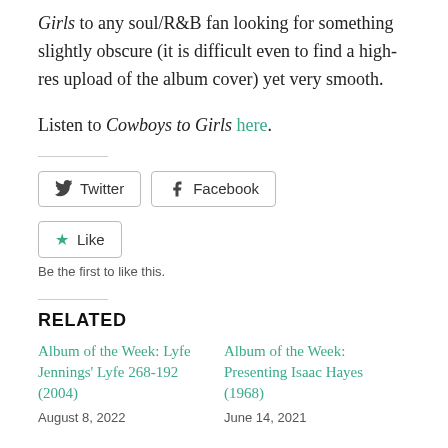Girls to any soul/R&B fan looking for something slightly obscure (it is difficult even to find a high-res upload of the album cover) yet very smooth.
Listen to Cowboys to Girls here.
[Figure (other): Twitter and Facebook social share buttons]
[Figure (other): Like button with star icon and 'Be the first to like this.' text]
RELATED
Album of the Week: Lyfe Jennings' Lyfe 268-192 (2004)
August 8, 2022
Album of the Week: Presenting Isaac Hayes (1968)
June 14, 2021